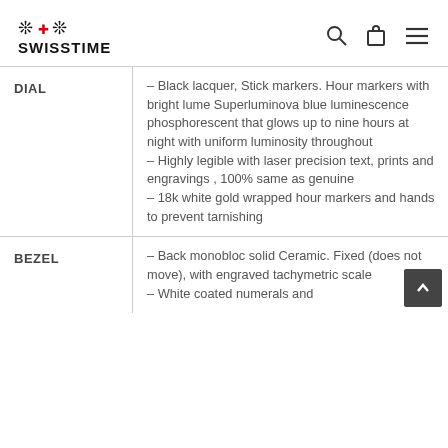SWISSTIME
|  |  |
| --- | --- |
| DIAL | – Black lacquer, Stick markers. Hour markers with bright lume Superluminova blue luminescence phosphorescent that glows up to nine hours at night with uniform luminosity throughout
– Highly legible with laser precision text, prints and engravings , 100% same as genuine
– 18k white gold wrapped hour markers and hands to prevent tarnishing |
| BEZEL | – Back monobloc solid Ceramic. Fixed (does not move), with engraved tachymetric scale
– White coated numerals and |